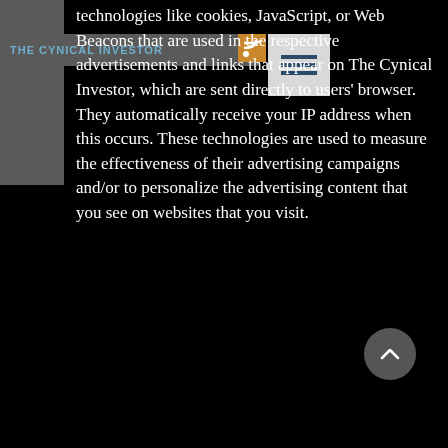THE CYNICAL INVESTOR
technologies like cookies, JavaScript, or Web Beacons that are used in the respective advertisements and links that appear on The Cynical Investor, which are sent directly to users' browser. They automatically receive your IP address when this occurs. These technologies are used to measure the effectiveness of their advertising campaigns and/or to personalize the advertising content that you see on websites that you visit.